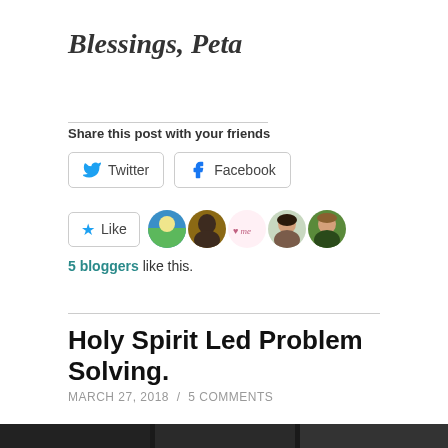Blessings, Peta
Share this post with your friends
[Figure (screenshot): Twitter and Facebook share buttons]
[Figure (screenshot): Like button with 5 blogger avatars]
5 bloggers like this.
Holy Spirit Led Problem Solving.
MARCH 27, 2018 / 5 COMMENTS
[Figure (photo): Dark photo strip at the bottom of the page]